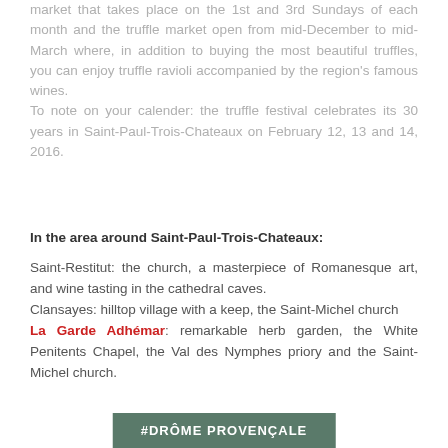market that takes place on the 1st and 3rd Sundays of each month and the truffle market open from mid-December to mid-March where, in addition to buying the most beautiful truffles, you can enjoy truffle ravioli accompanied by the region's famous wines.
To note on your calender: the truffle festival celebrates its 30 years in Saint-Paul-Trois-Chateaux on February 12, 13 and 14, 2016.
In the area around Saint-Paul-Trois-Chateaux:
Saint-Restitut: the church, a masterpiece of Romanesque art, and wine tasting in the cathedral caves.
Clansayes: hilltop village with a keep, the Saint-Michel church
La Garde Adhémar: remarkable herb garden, the White Penitents Chapel, the Val des Nymphes priory and the Saint-Michel church.
#DRÔME PROVENÇALE